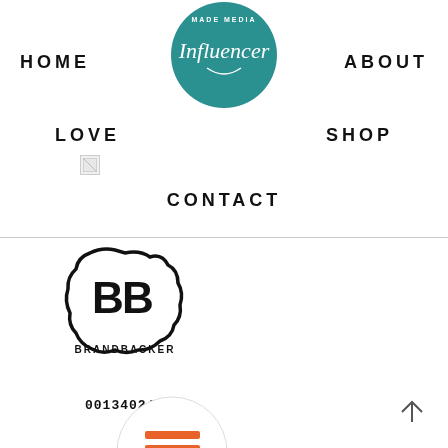[Figure (logo): Circular teal logo with 'MADE MEDIA' at top and 'Influencer' script text in center]
HOME    ABOUT
LOVE    SHOP
[Figure (other): Broken image placeholder]
CONTACT
[Figure (logo): BrandBacker logo: BB letters in circle with BRANDBACKER text below]
00134024
[Figure (logo): Circular logo with orange and teal layered lines/stacked lines icon]
[Figure (other): Back to top chevron arrow icon]